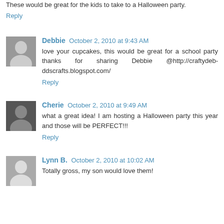These would be great for the kids to take to a Halloween party.
Reply
Debbie  October 2, 2010 at 9:43 AM
love your cupcakes, this would be great for a school party thanks for sharing Debbie @http://craftydeb-ddscrafts.blogspot.com/
Reply
Cherie  October 2, 2010 at 9:49 AM
what a great idea! I am hosting a Halloween party this year and those will be PERFECT!!!
Reply
Lynn B.  October 2, 2010 at 10:02 AM
Totally gross, my son would love them!